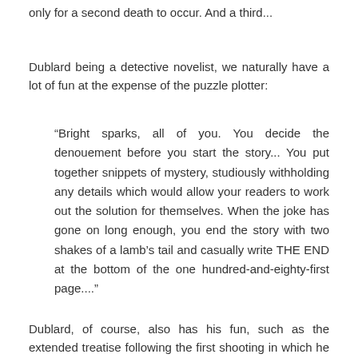only for a second death to occur.  And a third...
Dublard being a detective novelist, we naturally have a lot of fun at the expense of the puzzle plotter:
“Bright sparks, all of you. You decide the denouement before you start the story... You put together snippets of mystery, studiously withholding any details which would allow your readers to work out the solution for themselves. When the joke has gone on long enough, you end the story with two shakes of a lamb’s tail and casually write THE END at the bottom of the one hundred-and-eighty-first page....”
Dublard, of course, also has his fun, such as the extended treatise following the first shooting in which he makes a